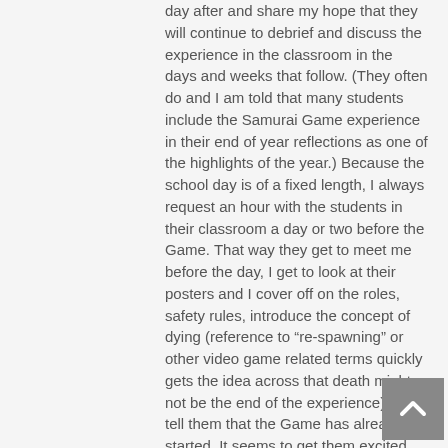day after and share my hope that they will continue to debrief and discuss the experience in the classroom in the days and weeks that follow. (They often do and I am told that many students include the Samurai Game experience in their end of year reflections as one of the highlights of the year.) Because the school day is of a fixed length, I always request an hour with the students in their classroom a day or two before the Game. That way they get to meet me before the day, I get to look at their posters and I cover off on the roles, safety rules, introduce the concept of dying (reference to “re-spawning” or other video game related terms quickly gets the idea across that death might not be the end of the experience) and tell them that the Game has already started. It seems to get them excited about the day, ask any questions they might be concerned about and gives me a chance to get a feel for the group.
Some other thoughts that might be helpful (in no particular order):
* I have run Games for between 30 and 50 students and have used school halls and basketball courts. 50 7th Grade boys really